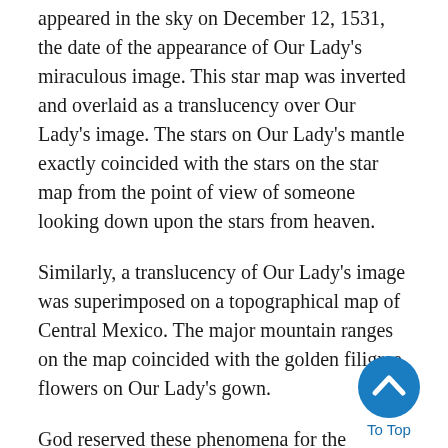appeared in the sky on December 12, 1531, the date of the appearance of Our Lady's miraculous image. This star map was inverted and overlaid as a translucency over Our Lady's image. The stars on Our Lady's mantle exactly coincided with the stars on the star map from the point of view of someone looking down upon the stars from heaven.
Similarly, a translucency of Our Lady's image was superimposed on a topographical map of Central Mexico. The major mountain ranges on the map coincided with the golden filigree flowers on Our Lady's gown.
God reserved these phenomena for the modern world to demonstrate to scientific skeptics that the tilma is His miraculous gift. These are the crowning scientific validations of this miracle.
[Figure (other): A circular blue 'To Top' button with a white upward-pointing chevron arrow, with the label 'To Top' below it.]